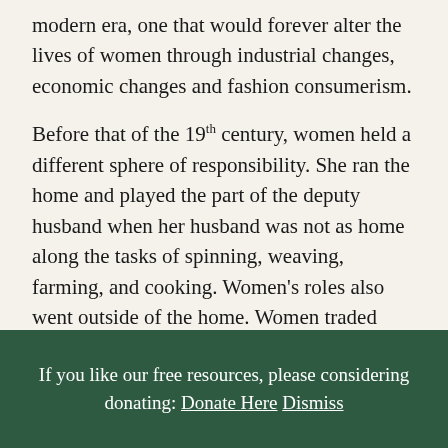modern era, one that would forever alter the lives of women through industrial changes, economic changes and fashion consumerism.
Before that of the 19th century, women held a different sphere of responsibility. She ran the home and played the part of the deputy husband when her husband was not as home along the tasks of spinning, weaving, farming, and cooking. Women's roles also went outside of the home. Women traded their wares and even held professions. This was considered the female economy, in which women would work and trade goods outside of the normal sphere of men. They would trade and
If you like our free resources, please considering donating: Donate Here Dismiss